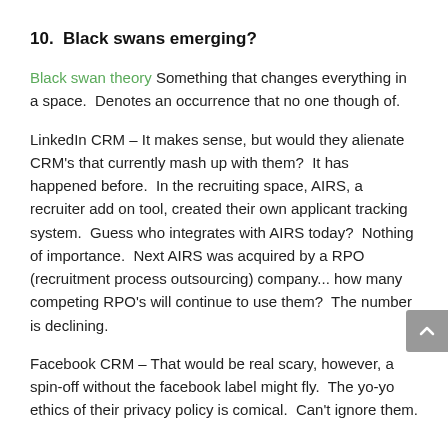10.  Black swans emerging?
Black swan theory Something that changes everything in a space.  Denotes an occurrence that no one though of.
LinkedIn CRM – It makes sense, but would they alienate CRM's that currently mash up with them?  It has happened before.  In the recruiting space, AIRS, a recruiter add on tool, created their own applicant tracking system.  Guess who integrates with AIRS today?  Nothing of importance.  Next AIRS was acquired by a RPO (recruitment process outsourcing) company... how many competing RPO's will continue to use them?  The number is declining.
Facebook CRM – That would be real scary, however, a spin-off without the facebook label might fly.  The yo-yo ethics of their privacy policy is comical.  Can't ignore them.